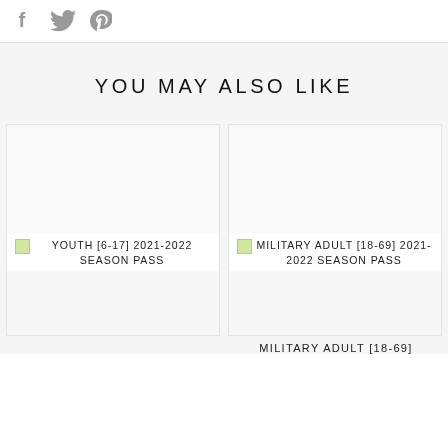[Figure (other): Social media share icons: Facebook (f), Twitter (bird), Pinterest (P) in gray]
YOU MAY ALSO LIKE
[Figure (other): Broken image placeholder for YOUTH [6-17] 2021-2022 SEASON PASS product card]
[Figure (other): Broken image placeholder for MILITARY ADULT [18-69] 2021-2022 SEASON PASS product card]
MILITARY ADULT [18-69]